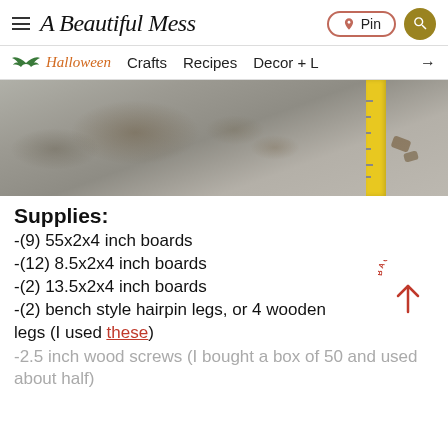A Beautiful Mess
[Figure (photo): A concrete floor surface with brown stains and a yellow metal ruler/bracket visible on the right side]
Supplies:
-(9) 55x2x4 inch boards
-(12) 8.5x2x4 inch boards
-(2) 13.5x2x4 inch boards
-(2) bench style hairpin legs, or 4 wooden legs (I used these)
-2.5 inch wood screws (I bought a box of 50 and used about half)